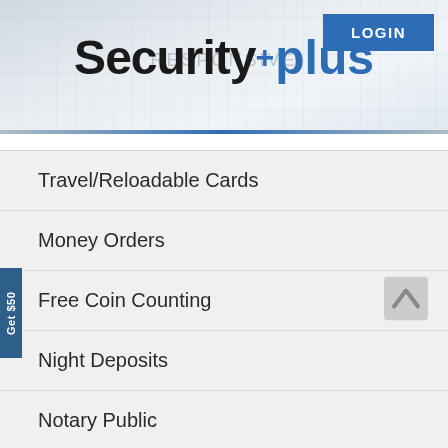[Figure (logo): Securityplus Federal Credit Union logo with blue LOGIN button in header]
Travel/Reloadable Cards
Money Orders
Free Coin Counting
Night Deposits
Notary Public